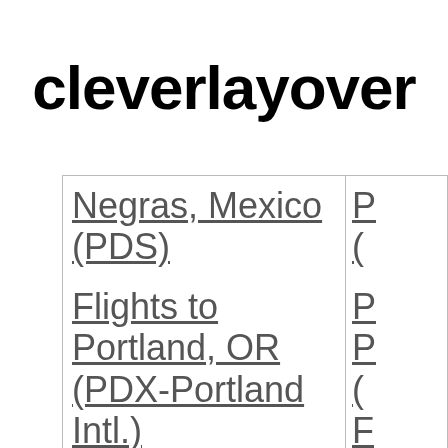cleverlayover
| Negras, Mexico (PDS) | P ( |
| Flights to Portland, OR (PDX-Portland Intl.) | P P ( F |